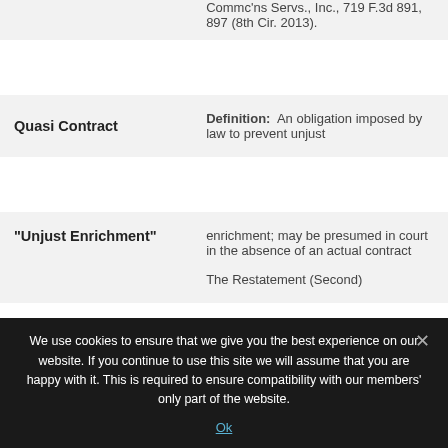| Term | Definition/Source |
| --- | --- |
|  | Commc'ns Servs., Inc., 719 F.3d 891, 897 (8th Cir. 2013). |
| Quasi Contract | Definition:  An obligation imposed by law to prevent unjust |
| "Unjust Enrichment" | enrichment; may be presumed in court in the absence of an actual contract

The Restatement (Second) |
We use cookies to ensure that we give you the best experience on our website. If you continue to use this site we will assume that you are happy with it. This is required to ensure compatibility with our members' only part of the website.
Ok